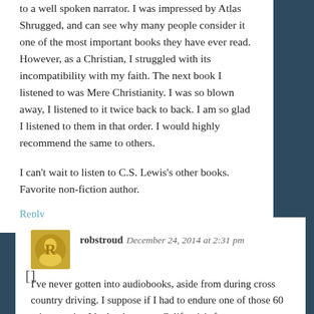to a well spoken narrator. I was impressed by Atlas Shrugged, and can see why many people consider it one of the most important books they have ever read. However, as a Christian, I struggled with its incompatibility with my faith. The next book I listened to was Mere Christianity. I was so blown away, I listened to it twice back to back. I am so glad I listened to them in that order. I would highly recommend the same to others.

I can't wait to listen to C.S. Lewis's other books. Favorite non-fiction author.
Reply
robstroud December 24, 2014 at 2:31 pm
I've never gotten into audiobooks, aside from during cross country driving. I suppose if I had to endure one of those 60 minutes trips I had to brave on California's freeways some years back, it would be appealing.